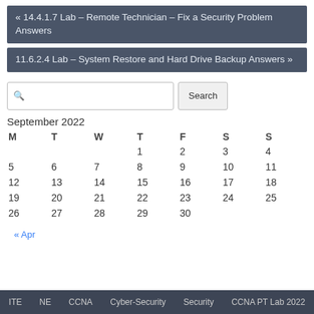« 14.4.1.7 Lab – Remote Technician – Fix a Security Problem Answers
11.6.2.4 Lab – System Restore and Hard Drive Backup Answers »
| M | T | W | T | F | S | S |
| --- | --- | --- | --- | --- | --- | --- |
|  |  |  | 1 | 2 | 3 | 4 |
| 5 | 6 | 7 | 8 | 9 | 10 | 11 |
| 12 | 13 | 14 | 15 | 16 | 17 | 18 |
| 19 | 20 | 21 | 22 | 23 | 24 | 25 |
| 26 | 27 | 28 | 29 | 30 |  |  |
« Apr
ITE   NE   CCNA   Cyber-Security   Security   CCNA PT Lab 2022